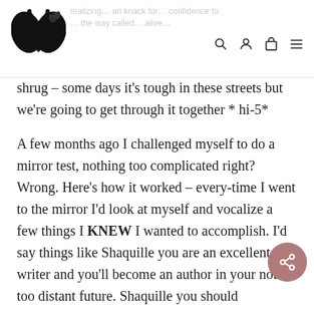Butterfly logo with navigation icons (search, account, cart, menu)
shrug – some days it's tough in these streets but we're going to get through it together * hi-5*
A few months ago I challenged myself to do a mirror test, nothing too complicated right? Wrong. Here's how it worked – every-time I went to the mirror I'd look at myself and vocalize a few things I KNEW I wanted to accomplish. I'd say things like Shaquille you are an excellent writer and you'll become an author in your not too distant future. Shaquille you should...